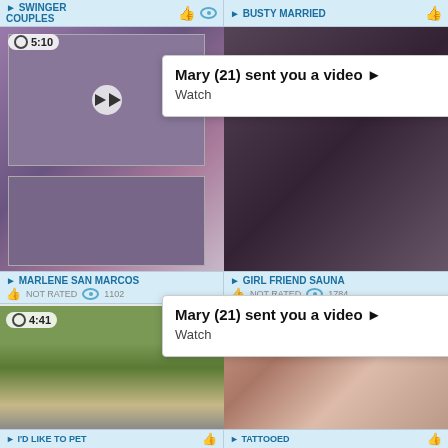SWINGER COUPLES
BUSTY MARRIED
[Figure (screenshot): Video thumbnail top left - swinger couples]
[Figure (screenshot): Video thumbnail top right - busty married]
Mary (21) sent you a video ► Watch
Mary (21) sent you a video ► Watch
MARLENE SAN MARCOS NOT RATED 1102
GIRL FRIEND SAUNA NOT RATED 1784
[Figure (photo): Outdoor photo - duration 4:41]
[Figure (photo): Indoor photo - duration 6:12]
I'D LIKE TO PET
TATTOOED